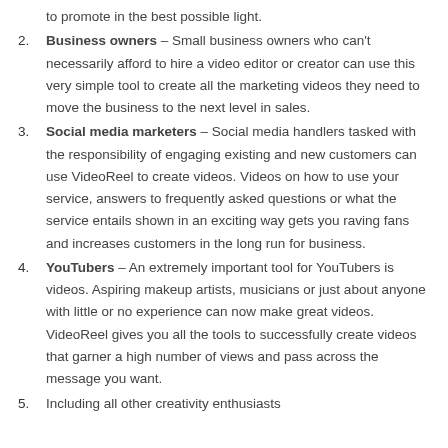to promote in the best possible light.
Business owners – Small business owners who can't necessarily afford to hire a video editor or creator can use this very simple tool to create all the marketing videos they need to move the business to the next level in sales.
Social media marketers – Social media handlers tasked with the responsibility of engaging existing and new customers can use VideoReel to create videos. Videos on how to use your service, answers to frequently asked questions or what the service entails shown in an exciting way gets you raving fans and increases customers in the long run for business.
YouTubers – An extremely important tool for YouTubers is videos. Aspiring makeup artists, musicians or just about anyone with little or no experience can now make great videos. VideoReel gives you all the tools to successfully create videos that garner a high number of views and pass across the message you want.
Including all other creativity enthusiasts